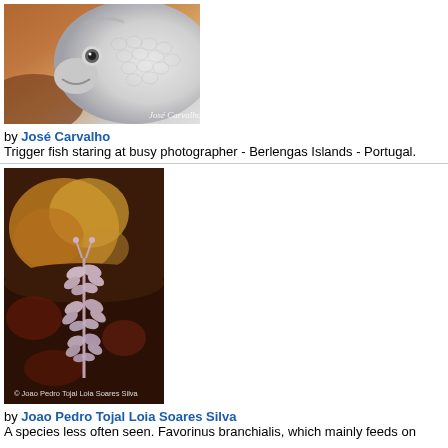[Figure (photo): Close-up underwater photo of a trigger fish staring at the camera, Berlengas Islands, Portugal. Photo by José Carvalho.]
by José Carvalho
Trigger fish staring at busy photographer - Berlengas Islands - Portugal.
[Figure (photo): Underwater macro photo of Favorinus branchialis nudibranch on a dark rocky substrate with golden encrusting organisms. Photo by Joao Pedro Tojal Loia Soares Silva.]
by Joao Pedro Tojal Loia Soares Silva
A species less often seen. Favorinus branchialis, which mainly feeds on